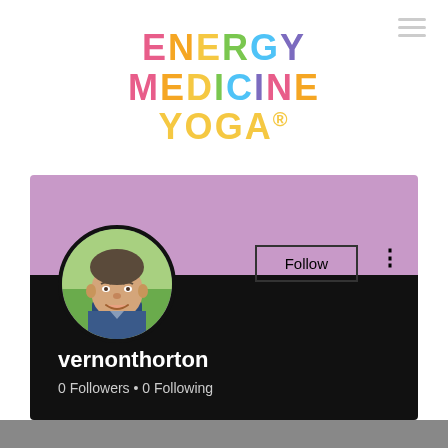[Figure (logo): Energy Medicine Yoga rainbow-colored logo with multicolored letters]
[Figure (screenshot): Social media profile page for user 'vernonthorton' with pink banner background, circular profile photo of a man, Follow button, 0 Followers and 0 Following counts on black background]